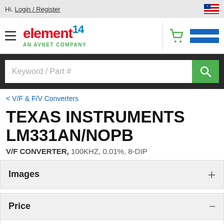Hi. Login / Register
[Figure (logo): element14 AN AVNET COMPANY logo with hamburger menu icon, shopping cart icon, and blue menu lines]
Keyword / Part #
< V/F & F/V Converters
TEXAS INSTRUMENTS LM331AN/NOPB
V/F CONVERTER, 100KHZ, 0.01%, 8-DIP
Images
Price
| Price for: | 1 Each |
| --- | --- |